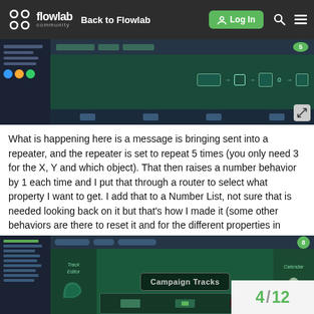flowlab community — Back to Flowlab — Log In
[Figure (screenshot): Screenshot of Flowlab game editor showing node-based behavior graph with teal/dark background and left panel with game objects]
What is happening here is a message is bringing sent into a repeater, and the repeater is set to repeat 5 times (you only need 3 for the X, Y and which object). That then raises a number behavior by 1 each time and I put that through a router to select what property I want to get. I add that to a Number List, not sure that is needed looking back on it but that's how I made it (some other behaviors are there to reset it and for the different properties in Alpaca Raceway)
[Figure (screenshot): Screenshot of Flowlab game showing Campaign Tracks screen with Track Editor on left, dark themed game UI with teal game background]
4 / 12